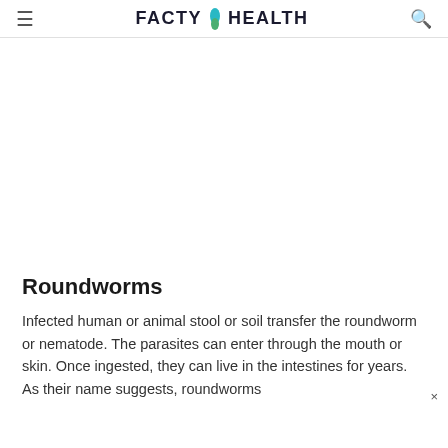≡  FACTY HEALTH  🔍
[Figure (other): Advertisement or blank area placeholder]
Roundworms
Infected human or animal stool or soil transfer the roundworm or nematode. The parasites can enter through the mouth or skin. Once ingested, they can live in the intestines for years. As their name suggests, roundworms